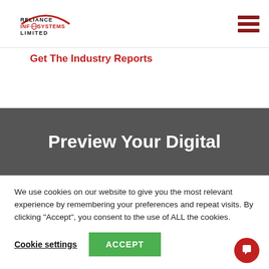[Figure (logo): Reliance Infosystems Limited logo with red arch and globe icon]
[Figure (other): Hamburger menu icon with three red horizontal bars]
Get The Industry Reports
Preview Your Digital
We use cookies on our website to give you the most relevant experience by remembering your preferences and repeat visits. By clicking “Accept”, you consent to the use of ALL the cookies.
Cookie settings
ACCEPT